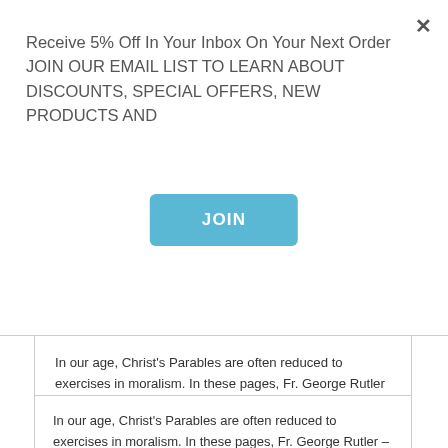Receive 5% Off In Your Inbox On Your Next Order JOIN OUR EMAIL LIST TO LEARN ABOUT DISCOUNTS, SPECIAL OFFERS, NEW PRODUCTS AND
JOIN
In our age, Christ's Parables are often reduced to exercises in moralism. In these pages, Fr. George Rutler – acclaimed author and EWTN television host – unveils these deceptively simple stories, showing you their hidden meanings and how they apply to our own age and way of life.
Read More
+ Reviews (0)
You May Also Like